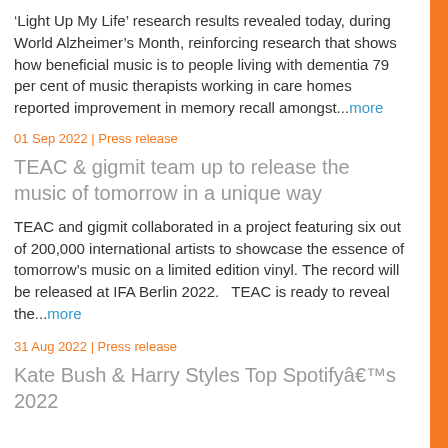'Light Up My Life' research results revealed today, during World Alzheimer's Month, reinforcing research that shows how beneficial music is to people living with dementia 79 per cent of music therapists working in care homes reported improvement in memory recall amongst...more
01 Sep 2022 | Press release
TEAC & gigmit team up to release the music of tomorrow in a unique way
TEAC and gigmit collaborated in a project featuring six out of 200,000 international artists to showcase the essence of tomorrow's music on a limited edition vinyl. The record will be released at IFA Berlin 2022.   TEAC is ready to reveal the...more
31 Aug 2022 | Press release
Kate Bush & Harry Styles Top Spotifyâs 2022